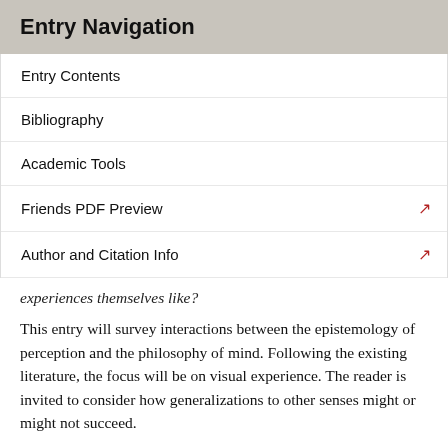Entry Navigation
Entry Contents
Bibliography
Academic Tools
Friends PDF Preview
Author and Citation Info
experiences themselves like?
This entry will survey interactions between the epistemology of perception and the philosophy of mind. Following the existing literature, the focus will be on visual experience. The reader is invited to consider how generalizations to other senses might or might not succeed.
Section 1 considers theories of experience and what implications they might have for the epistemology of perception. Section 2 considers perceptual phenomena, and...